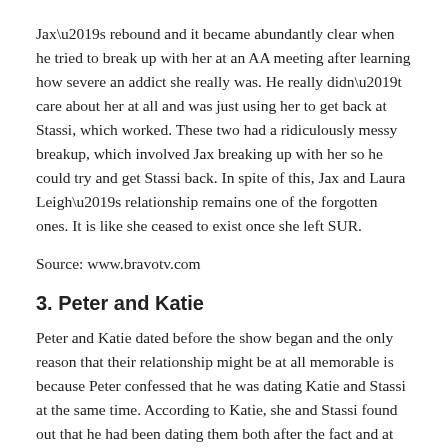Jax’s rebound and it became abundantly clear when he tried to break up with her at an AA meeting after learning how severe an addict she really was. He really didn’t care about her at all and was just using her to get back at Stassi, which worked. These two had a ridiculously messy breakup, which involved Jax breaking up with her so he could try and get Stassi back. In spite of this, Jax and Laura Leigh’s relationship remains one of the forgotten ones. It is like she ceased to exist once she left SUR.
Source: www.bravotv.com
3. Peter and Katie
Peter and Katie dated before the show began and the only reason that their relationship might be at all memorable is because Peter confessed that he was dating Katie and Stassi at the same time. According to Katie, she and Stassi found out that he had been dating them both after the fact and at that point they were friends and neither one of them was involved with Peter anymore. Katie then began dating Tom Schwartz and their relationship has taken